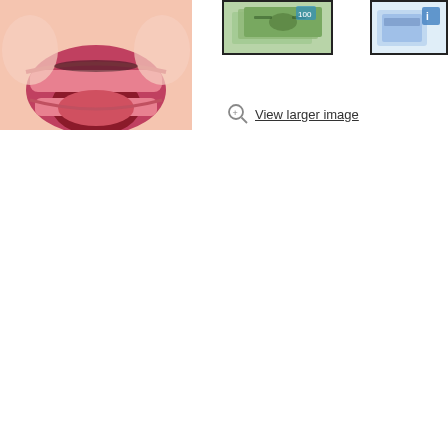[Figure (photo): Close-up photo of a baby's open mouth, smiling, showing gums and tongue on a white background.]
[Figure (photo): Thumbnail image showing currency/money bills, green and blue tones, inside a black border frame.]
[Figure (photo): Thumbnail image showing a product or item, light blue tones, inside a black border frame, partially cropped.]
View larger image